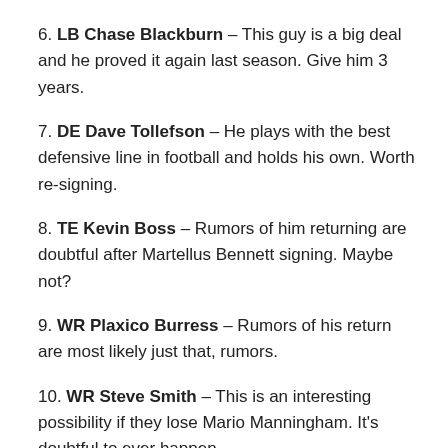6. LB Chase Blackburn – This guy is a big deal and he proved it again last season. Give him 3 years.
7. DE Dave Tollefson – He plays with the best defensive line in football and holds his own. Worth re-signing.
8. TE Kevin Boss – Rumors of him returning are doubtful after Martellus Bennett signing. Maybe not?
9. WR Plaxico Burress – Rumors of his return are most likely just that, rumors.
10. WR Steve Smith – This is an interesting possibility if they lose Mario Manningham. It's doubtful to ever happen.
11. DE Osi Umenyiora – Pay this man the money he has earned and work it out like Manning's contract or something.